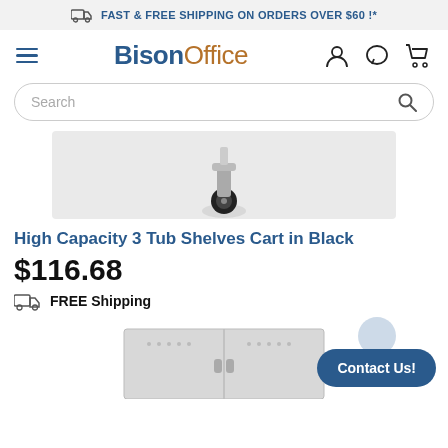FAST & FREE SHIPPING ON ORDERS OVER $60 !*
[Figure (logo): BisonOffice logo with hamburger menu icon and navigation icons (user, chat, cart)]
[Figure (screenshot): Search bar with placeholder text 'Search' and a magnifying glass icon]
[Figure (photo): Partial product image showing a caster wheel of a cart on a light grey background]
High Capacity 3 Tub Shelves Cart in Black
$116.68
FREE Shipping
[Figure (photo): Partial product image of a grey metal locker/storage cabinet visible at bottom of page]
Contact Us!